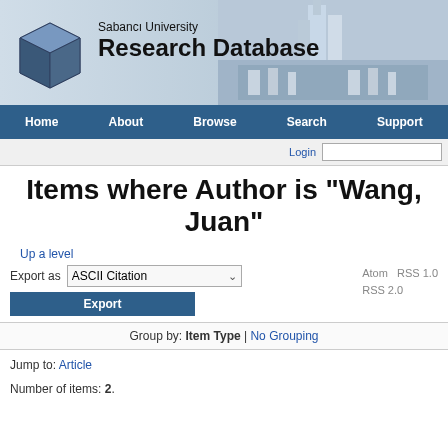[Figure (screenshot): Sabanci University Research Database header banner with globe cube icon, university building photo, and title text]
Home  About  Browse  Search  Support
Items where Author is "Wang, Juan"
Up a level
Export as ASCII Citation  Export  Atom  RSS 1.0  RSS 2.0
Group by: Item Type | No Grouping
Jump to: Article
Number of items: 2.